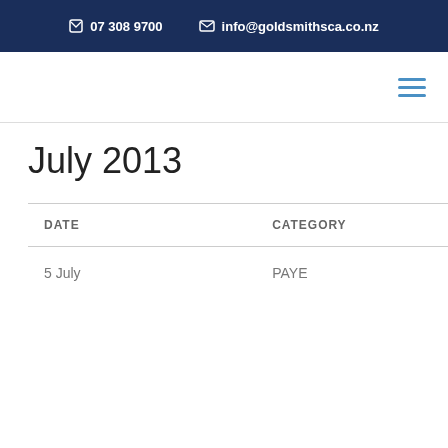07 308 9700  info@goldsmithsca.co.nz
July 2013
| DATE | CATEGORY |
| --- | --- |
| 5 July | PAYE |